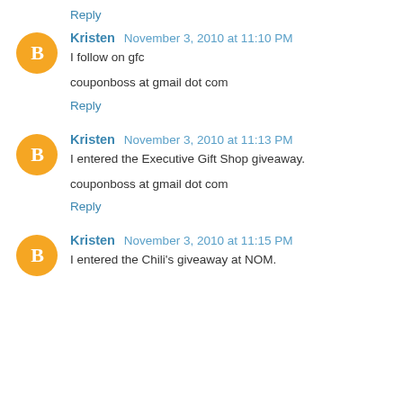Reply
Kristen November 3, 2010 at 11:10 PM
I follow on gfc
couponboss at gmail dot com
Reply
Kristen November 3, 2010 at 11:13 PM
I entered the Executive Gift Shop giveaway.
couponboss at gmail dot com
Reply
Kristen November 3, 2010 at 11:15 PM
I entered the Chili's giveaway at NOM.